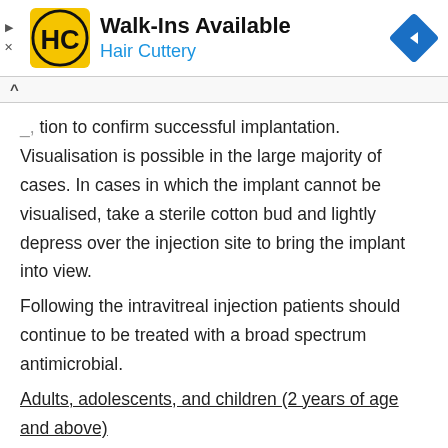[Figure (other): Hair Cuttery advertisement banner with logo, Walk-Ins Available text, and navigation arrow icon]
...tion to confirm successful implantation. Visualisation is possible in the large majority of cases. In cases in which the implant cannot be visualised, take a sterile cotton bud and lightly depress over the injection site to bring the implant into view.
Following the intravitreal injection patients should continue to be treated with a broad spectrum antimicrobial.
Adults, adolescents, and children (2 years of age and above)
The frequency of instillation of drops and the